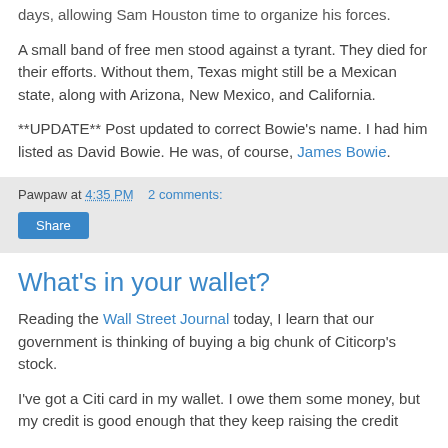days, allowing Sam Houston time to organize his forces.
A small band of free men stood against a tyrant. They died for their efforts. Without them, Texas might still be a Mexican state, along with Arizona, New Mexico, and California.
**UPDATE** Post updated to correct Bowie's name. I had him listed as David Bowie. He was, of course, James Bowie.
Pawpaw at 4:35 PM   2 comments:
Share
What's in your wallet?
Reading the Wall Street Journal today, I learn that our government is thinking of buying a big chunk of Citicorp's stock.
I've got a Citi card in my wallet. I owe them some money, but my credit is good enough that they keep raising the credit